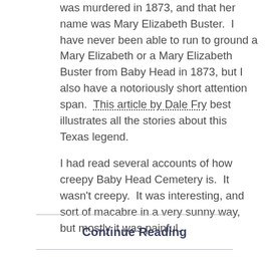was murdered in 1873, and that her name was Mary Elizabeth Buster.  I have never been able to run to ground a Mary Elizabeth or a Mary Elizabeth Buster from Baby Head in 1873, but I also have a notoriously short attention span.  This article by Dale Fry best illustrates all the stories about this Texas legend.

I had read several accounts of how creepy Baby Head Cemetery is.  It wasn't creepy.  It was interesting, and sort of macabre in a very sunny way, but mostly it was painful.
Continue Reading